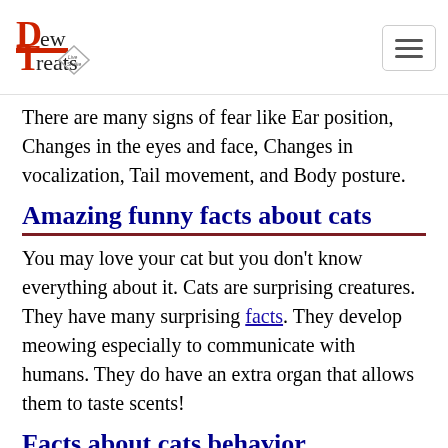Dew Treats [logo]
There are many signs of fear like Ear position, Changes in the eyes and face, Changes in vocalization, Tail movement, and Body posture.
Amazing funny facts about cats
You may love your cat but you don't know everything about it. Cats are surprising creatures. They have many surprising facts. They develop meowing especially to communicate with humans. They do have an extra organ that allows them to taste scents!
Facts about cats behavior